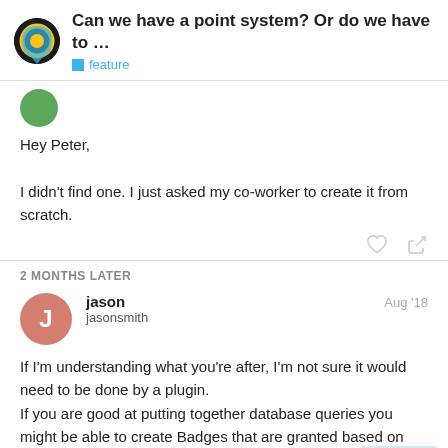Can we have a point system? Or do we have to … | feature
Hey Peter,

I didn't find one. I just asked my co-worker to create it from scratch.
2 MONTHS LATER
jason   Aug '18
jasonsmith
If I'm understanding what you're after, I'm not sure it would need to be done by a plugin.
If you are good at putting together database queries you might be able to create Badges that are granted based on how many times another Badge has been granted.
7 / 12